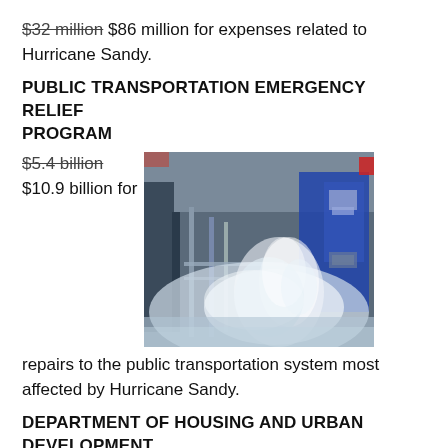$32 million $86 million for expenses related to Hurricane Sandy.
PUBLIC TRANSPORTATION EMERGENCY RELIEF PROGRAM
$5.4 billion $10.9 billion for repairs to the public transportation system most affected by Hurricane Sandy.
[Figure (photo): Flood water rushing into a subway station with turnstiles and ticket machines visible]
DEPARTMENT OF HOUSING AND URBAN DEVELOPMENT
$3.85 billion $16 billion for disaster relief, long